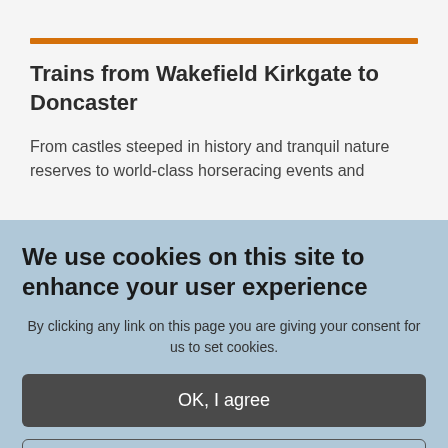Trains from Wakefield Kirkgate to Doncaster
From castles steeped in history and tranquil nature reserves to world-class horseracing events and
We use cookies on this site to enhance your user experience
By clicking any link on this page you are giving your consent for us to set cookies.
OK, I agree
No, please give me more information